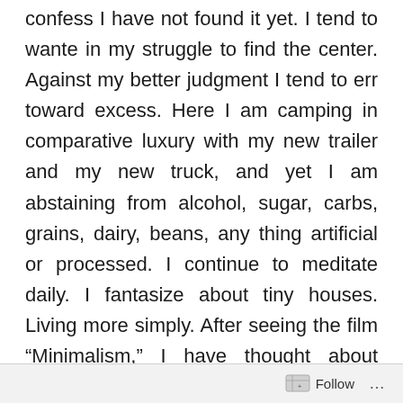confess I have not found it yet. I tend to wante in my struggle to find the center. Against my better judgment I tend to err toward excess. Here I am camping in comparative luxury with my new trailer and my new truck, and yet I am abstaining from alcohol, sugar, carbs, grains, dairy, beans, any thing artificial or processed. I continue to meditate daily. I fantasize about tiny houses. Living more simply. After seeing the film “Minimalism,” I have thought about whether I could reduce my closet down to 30 pieces of clothing, including socks, underwear, pants, shirts, shorts, and coats. I keep doing the math. It doesn’t add up. I must keep my disco pants and my disco shorts and my disco hoodie and my disco bowtie. That’s four. There are things too difficult to give up. And that’s the project, isn’t it? What can you live without? What the you want? Who do you love? Do the
Follow ...